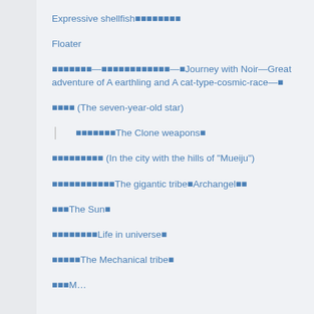Expressive shellfish■■■■■■■■
Floater
■■■■■■■—■■■■■■■■■■■■—■Journey with Noir—Great adventure of A earthling and A cat-type-cosmic-race—■
■■■■ (The seven-year-old star)
■■■■■■■The Clone weapons■
■■■■■■■■■ (In the city with the hills of "Mueiju")
■■■■■■■■■■■The gigantic tribe■Archangel■■
■■■The Sun■
■■■■■■■■Life in universe■
■■■■■The Mechanical tribe■
■■■M…